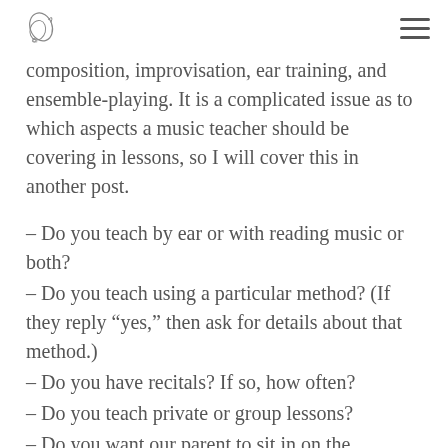[logo] [hamburger menu]
composition, improvisation, ear training, and ensemble-playing. It is a complicated issue as to which aspects a music teacher should be covering in lessons, so I will cover this in another post.
– Do you teach by ear or with reading music or both?
– Do you teach using a particular method? (If they reply “yes,” then ask for details about that method.)
– Do you have recitals? If so, how often?
– Do you teach private or group lessons?
– Do you want our parent to sit in on the